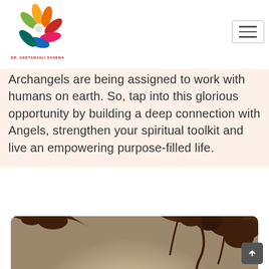[Figure (logo): Dr. Geetanjali Saxena colorful pinwheel/flower logo with text 'DR. GEETANJALI SAXENA' below]
Archangels are being assigned to work with humans on earth. So, tap into this glorious opportunity by building a deep connection with Angels, strengthen your spiritual toolkit and live an empowering purpose-filled life.
[Figure (photo): Silhouette of a person in a yoga pose with arms raised overhead forming a triangle/point shape, backlit by a bright sun glow, with dark tree branches visible at the top, warm sepia/vintage tone outdoor scene]